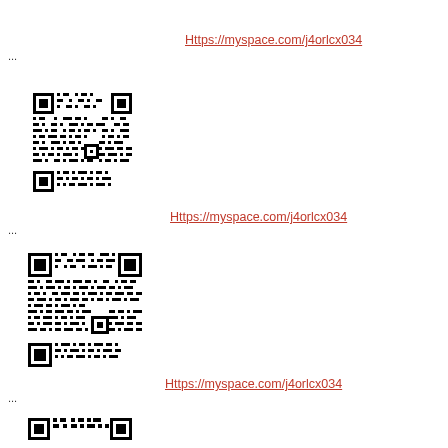[Figure (other): QR code (partial, top cropped) linking to Https://myspace.com/j4orlcx034]
Https://myspace.com/j4orlcx034
...
[Figure (other): QR code linking to Https://myspace.com/j4orlcx034]
Https://myspace.com/j4orlcx034
...
[Figure (other): QR code linking to Https://myspace.com/j4orlcx034]
Https://myspace.com/j4orlcx034
...
[Figure (other): QR code (partial, bottom cropped) linking to Https://myspace.com/j4orlcx034]